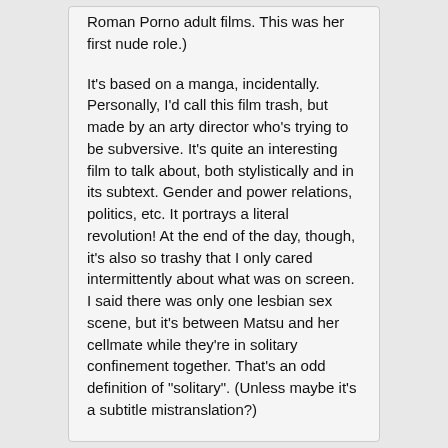Roman Porno adult films. This was her first nude role.)
It's based on a manga, incidentally. Personally, I'd call this film trash, but made by an arty director who's trying to be subversive. It's quite an interesting film to talk about, both stylistically and in its subtext. Gender and power relations, politics, etc. It portrays a literal revolution! At the end of the day, though, it's also so trashy that I only cared intermittently about what was on screen. I said there was only one lesbian sex scene, but it's between Matsu and her cellmate while they're in solitary confinement together. That's an odd definition of "solitary". (Unless maybe it's a subtitle mistranslation?)
The film series is known as Female Prisoner Scorpion. I'll be avoiding it. There are a couple of similar films that interest me, e.g. the one starring Asami, despite its disturbing title. For the most